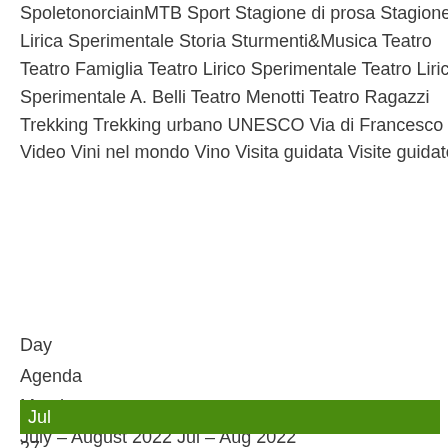SpoletonorciainMTB Sport Stagione di prosa Stagione Lirica Sperimentale Storia Sturmenti&Musica Teatro Teatro Famiglia Teatro Lirico Sperimentale Teatro Lirico Sperimentale A. Belli Teatro Menotti Teatro Ragazzi Trekking Trekking urbano UNESCO Via di Francesco Video Vini nel mondo Vino Visita guidata Visite guidate
Day
Agenda
Month
July – August 2022 Jul – Aug 2022
Collapse All Expand All
Jul
27